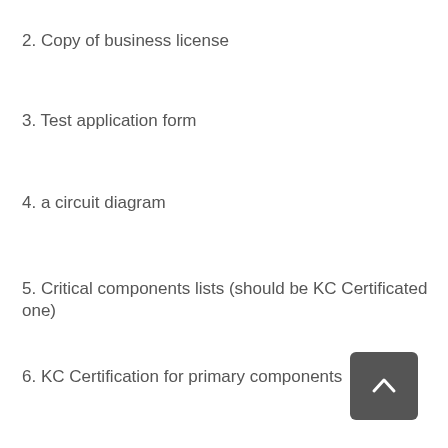2. Copy of business license
3. Test application form
4. a circuit diagram
5. Critical components lists (should be KC Certificated one)
6. KC Certification for primary components